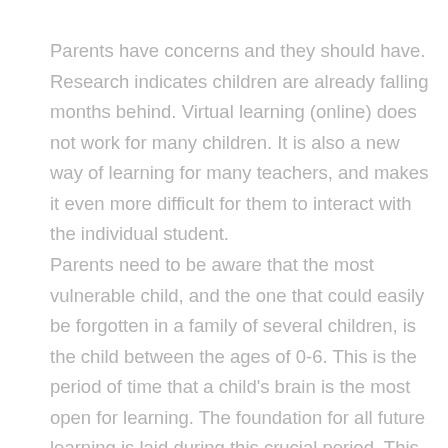Parents have concerns and they should have. Research indicates children are already falling months behind. Virtual learning (online) does not work for many children. It is also a new way of learning for many teachers, and makes it even more difficult for them to interact with the individual student.
Parents need to be aware that the most vulnerable child, and the one that could easily be forgotten in a family of several children, is the child between the ages of 0-6. This is the period of time that a child's brain is the most open for learning. The foundation for all future learning is laid during this crucial period. This is a critical time for learning. These early years are a natural once-in-a-lifetime